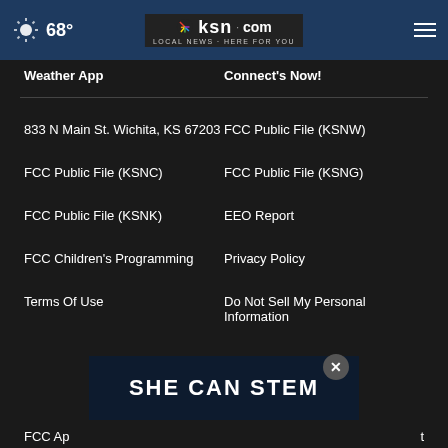68° ksn.com LOCAL NEWS · HERE FOR YOU
Weather App
Connect's Now!
833 N Main St. Wichita, KS 67203
FCC Public File (KSNW)
FCC Public File (KSNC)
FCC Public File (KSNG)
FCC Public File (KSNK)
EEO Report
FCC Children's Programming
Privacy Policy
Terms Of Use
Do Not Sell My Personal Information
[Figure (screenshot): SHE CAN STEM advertisement banner]
FCC Ap...